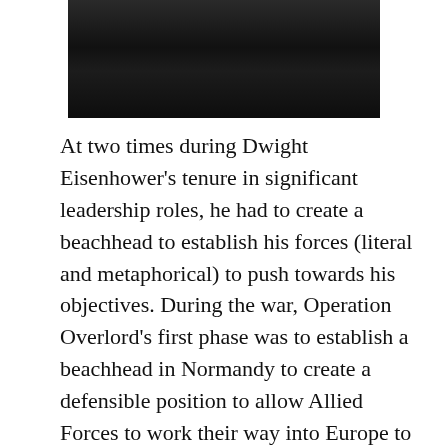[Figure (photo): Black and white photograph, partially visible at the top of the page, showing a dark silhouetted figure against a dark background.]
At two times during Dwight Eisenhower's tenure in significant leadership roles, he had to create a beachhead to establish his forces (literal and metaphorical) to push towards his objectives. During the war, Operation Overlord's first phase was to establish a beachhead in Normandy to create a defensible position to allow Allied Forces to work their way into Europe to push back Germany's army. Establishing a beachhead is critical to success, but is often difficult for offensive forces to complete as the defending force usually has the upper hand in terms of resources and strategic positioning. While the offensive forces need to both set up a foothold and protect its lines to allow more troops to arrive, the defending forces